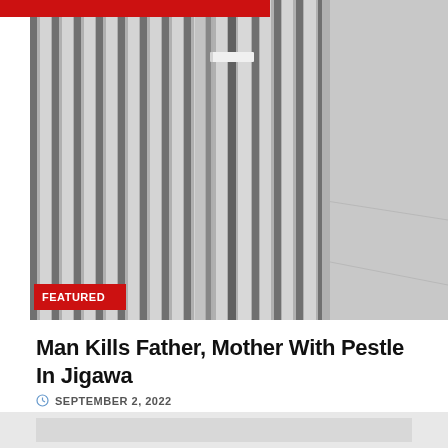[Figure (photo): Photo of a person wearing striped fabric/clothing, black and white stripes visible, with a FEATURED badge overlay in red at bottom left. Red bar visible at top.]
Man Kills Father, Mother With Pestle In Jigawa
SEPTEMBER 2, 2022